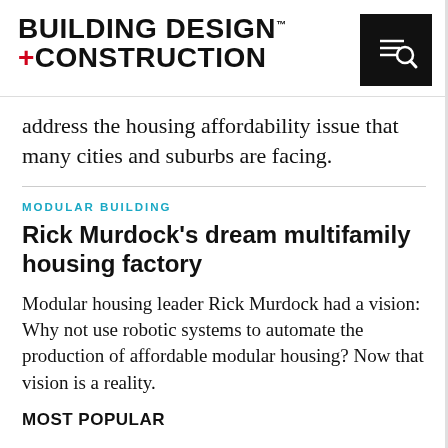BUILDING DESIGN +CONSTRUCTION
address the housing affordability issue that many cities and suburbs are facing.
MODULAR BUILDING
Rick Murdock's dream multifamily housing factory
Modular housing leader Rick Murdock had a vision: Why not use robotic systems to automate the production of affordable modular housing? Now that vision is a reality.
MOST POPULAR